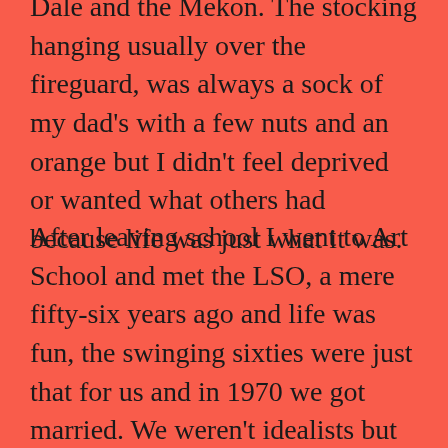Dale and the Mekon. The stocking hanging usually over the fireguard, was always a sock of my dad's with a few nuts and an orange but I didn't feel deprived or wanted what others had because life was just what it was.
After leaving school I went to Art School and met the LSO, a mere fifty-six years ago and life was fun, the swinging sixties were just that for us and in 1970 we got married. We weren't idealists but we wanted a better life for our children which in truth they got. I am sure much of what I have written will apply to the majority of people in our age group. I resent the comments made about the grey pound population being a drag on the market, we worked hard all our lives for what we have now.